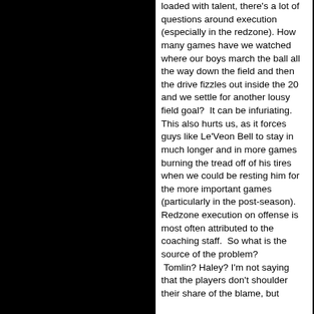[Figure (photo): Black rectangle occupying the left half of the page]
loaded with talent, there's a lot of questions around execution (especially in the redzone). How many games have we watched where our boys march the ball all the way down the field and then the drive fizzles out inside the 20 and we settle for another lousy field goal?  It can be infuriating.
This also hurts us, as it forces guys like Le'Veon Bell to stay in much longer and in more games burning the tread off of his tires when we could be resting him for the more important games (particularly in the post-season).
Redzone execution on offense is most often attributed to the coaching staff.  So what is the source of the problem?
 Tomlin? Haley? I'm not saying that the players don't shoulder their share of the blame, but